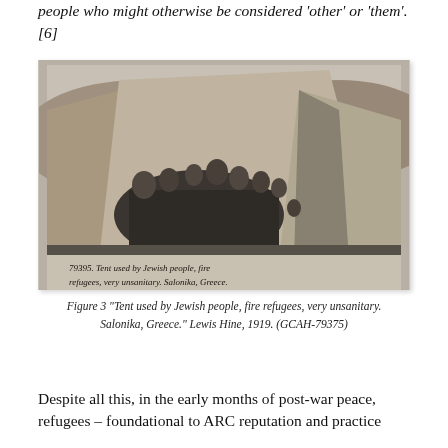people who might otherwise be considered 'other' or 'them'.[6]
[Figure (photo): Black and white photograph of a group of people, including adults and children, standing in front of a large tent. Handwritten caption at the bottom reads: '79395. Tent used by Jewish people, fire refugees, very unsanitary. Salonika, Greece.']
Figure 3 "Tent used by Jewish people, fire refugees, very unsanitary. Salonika, Greece." Lewis Hine, 1919. (GCAH-79375)
Despite all this, in the early months of post-war peace, refugees – foundational to ARC reputation and practice